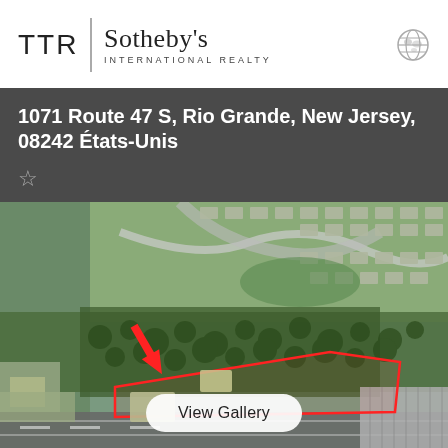[Figure (logo): TTR Sotheby's International Realty logo with globe icon]
1071 Route 47 S, Rio Grande, New Jersey, 08242 États-Unis
[Figure (photo): Aerial drone photograph of the property at 1071 Route 47 S, Rio Grande, NJ. The image shows a large land parcel outlined in red with a red arrow pointing to the property. Surrounding area includes residential development, roads, and wooded areas. A 'View Gallery' button is overlaid at the bottom center.]